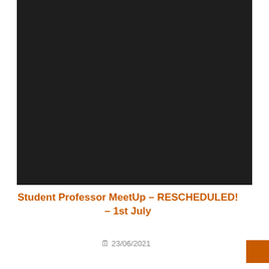[Figure (photo): Large dark/black image taking up the top portion of the page]
Student Professor MeetUp – RESCHEDULED! – 1st July
🗓 23/06/2021